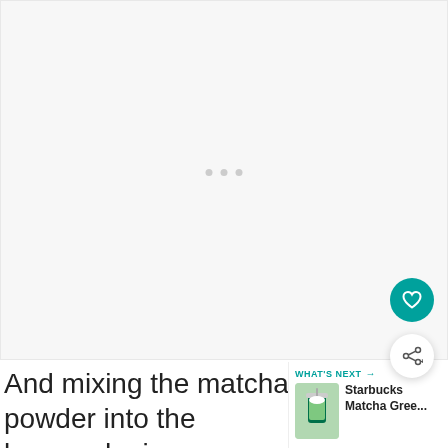[Figure (photo): Large white/light gray image placeholder area with three small gray dots centered near the middle, representing a loading or blank image area]
And mixing the matcha powder into the lemonade, is my preferred
[Figure (infographic): WHAT'S NEXT panel with teal header text and arrow, showing a thumbnail of a Starbucks Matcha Green drink with title text 'Starbucks Matcha Gree...']